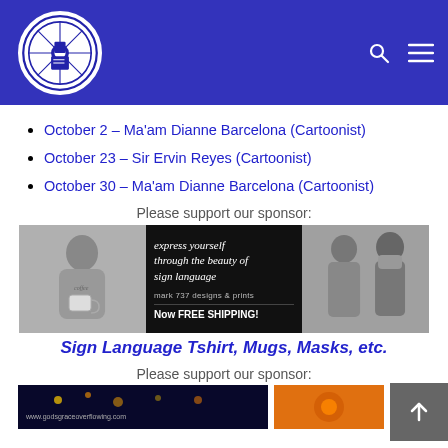Navigation header with organization logo, search icon, and menu icon
October 2 – Ma'am Dianne Barcelona (Cartoonist)
October 23 – Sir Ervin Reyes (Cartoonist)
October 30 – Ma'am Dianne Barcelona (Cartoonist)
Please support our sponsor:
[Figure (photo): Sponsor banner for mark 737 designs & prints: 'express yourself through the beauty of sign language', Now FREE SHIPPING!]
Sign Language Tshirt, Mugs, Masks, etc.
Please support our sponsor:
[Figure (photo): Bottom sponsor banner with www.godsgraceoverflowing.com text]